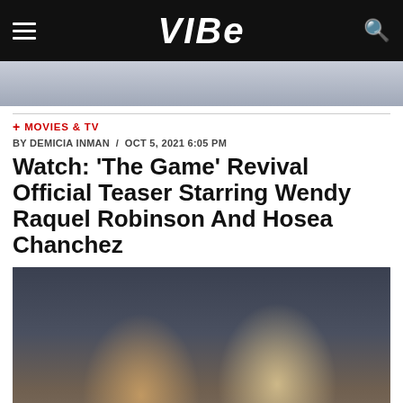VIBE
[Figure (photo): Partial top image showing a person, cropped at top of page]
+ MOVIES & TV
BY DEMICIA INMAN / OCT 5, 2021 6:05 PM
Watch: 'The Game' Revival Official Teaser Starring Wendy Raquel Robinson And Hosea Chanchez
[Figure (photo): Two actors from The Game TV show revival — a woman in a dark blazer with curly hair and a man in a light grey suit jacket — standing near a pool table in an interior set. A YouTube play button overlay is visible in the bottom left corner.]